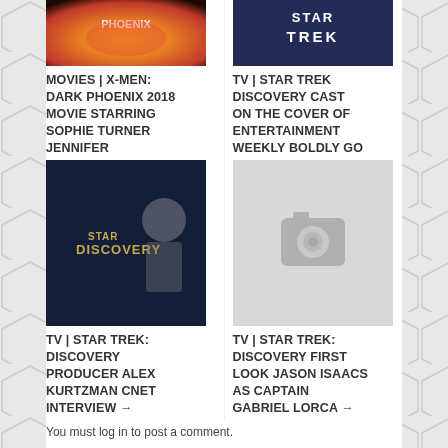[Figure (photo): X-Men Dark Phoenix 2018 movie thumbnail with fire/orange tones]
[Figure (photo): Star Trek Discovery cast cover of Entertainment Weekly]
MOVIES | X-MEN: DARK PHOENIX 2018 MOVIE STARRING SOPHIE TURNER JENNIFER
TV | STAR TREK DISCOVERY CAST ON THE COVER OF ENTERTAINMENT WEEKLY BOLDLY GO
[Figure (photo): Star Trek Discovery logo with producer Alex Kurtzman]
[Figure (photo): Photo placeholder / camera icon for Star Trek Discovery First Look Jason Isaacs]
TV | STAR TREK: DISCOVERY PRODUCER ALEX KURTZMAN CNET INTERVIEW →
TV | STAR TREK: DISCOVERY FIRST LOOK JASON ISAACS AS CAPTAIN GABRIEL LORCA →
You must log in to post a comment.
Back to Top ↑